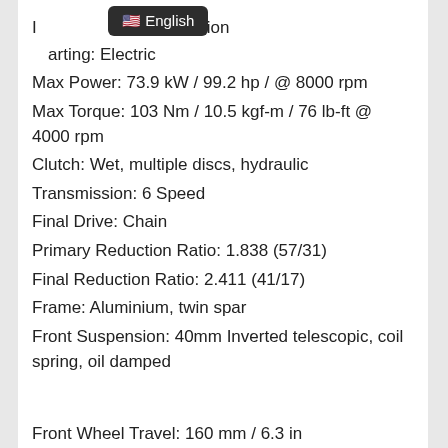Ignition: Electronic ignition
Starting: Electric
Max Power: 73.9 kW / 99.2 hp / @ 8000 rpm
Max Torque: 103 Nm / 10.5 kgf-m / 76 lb-ft @ 4000 rpm
Clutch: Wet, multiple discs, hydraulic
Transmission: 6 Speed
Final Drive: Chain
Primary Reduction Ratio: 1.838 (57/31)
Final Reduction Ratio: 2.411 (41/17)
Frame: Aluminium, twin spar
Front Suspension: 40mm Inverted telescopic, coil spring, oil damped
Front Wheel Travel: 160 mm / 6.3 in